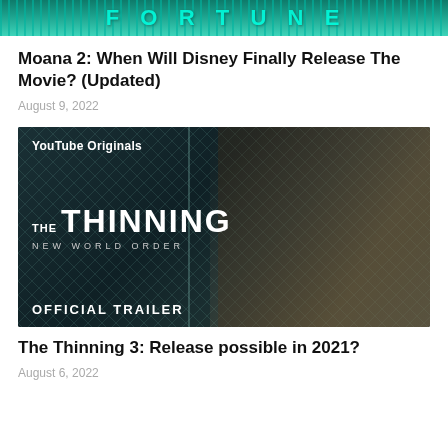[Figure (screenshot): Top cropped image showing colorful title text on teal/green background — partial movie or show title graphic]
Moana 2: When Will Disney Finally Release The Movie? (Updated)
August 9, 2022
[Figure (screenshot): YouTube Originals official trailer thumbnail for 'The Thinning: New World Order' showing a blond young man shouting against a chain-link fence background]
The Thinning 3: Release possible in 2021?
August 6, 2022